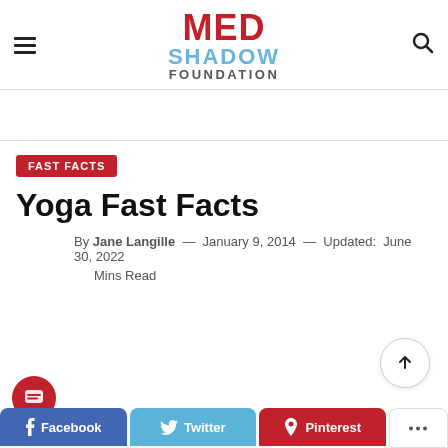MED SHADOW FOUNDATION
[Figure (logo): MedShadow Foundation logo with MED in red, SHADOW in blue, FOUNDATION in gray]
FAST FACTS
Yoga Fast Facts
By Jane Langille — January 9, 2014 — Updated: June 30, 2022
Mins Read